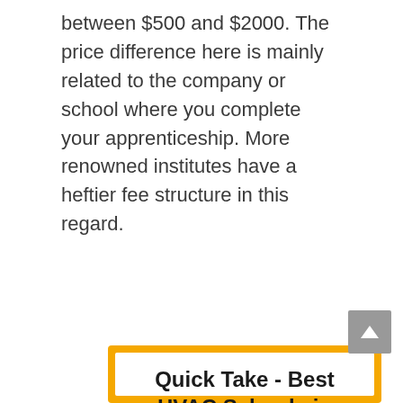between $500 and $2000. The price difference here is mainly related to the company or school where you complete your apprenticeship. More renowned institutes have a heftier fee structure in this regard.
Quick Take - Best HVAC Schools in Columbus, Ohio
Just looking for the top 3 schools in your area? Here are the best HVAC schools in Columbus, Ohio:
1. Columbus State Community College